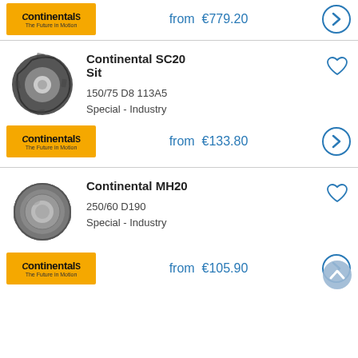[Figure (logo): Continental logo - yellow background with Continental brand name]
from €779.20
[Figure (photo): Continental tire product photo - industrial forklift tire SC20 Sit]
Continental SC20 Sit
150/75 D8 113A5 Special - Industry
[Figure (logo): Continental logo - yellow background]
from €133.80
[Figure (photo): Continental tire product photo - industrial tire MH20]
Continental MH20
250/60 D190 Special - Industry
[Figure (logo): Continental logo - yellow background]
from €105.90